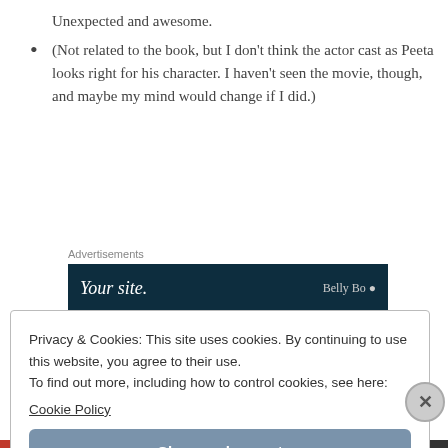Unexpected and awesome.
(Not related to the book, but I don't think the actor cast as Peeta looks right for his character. I haven't seen the movie, though, and maybe my mind would change if I did.)
Advertisements
[Figure (other): Advertisement banner with dark navy background reading 'Your site.' in italic white text with partial logo on right]
Privacy & Cookies: This site uses cookies. By continuing to use this website, you agree to their use.
To find out more, including how to control cookies, see here:
Cookie Policy
Close and accept